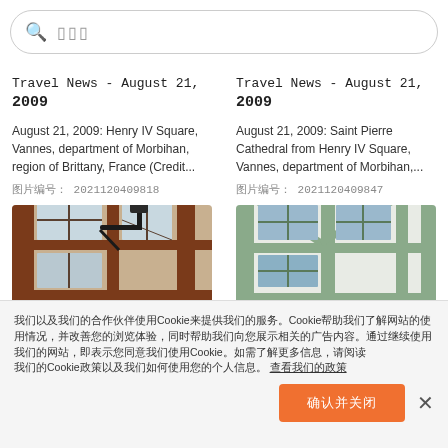搜索栏（search bar with placeholder text）
Travel News - August 21, 2009
August 21, 2009: Henry IV Square, Vannes, department of Morbihan, region of Brittany, France (Credit...
图片编号: 2021120409818
[Figure (photo): Half-timbered brown building with windows and hanging street lamp]
Travel News - August 21, 2009
August 21, 2009: Saint Pierre Cathedral from Henry IV Square, Vannes, department of Morbihan,...
图片编号: 2021120409847
[Figure (photo): White and green half-timbered building facade with windows]
我们以及我们的合作伙伴使用Cookie来提供我们的服务。Cookie帮助我们了解网站的使用情况，并改善您的浏览体验，同时帮助我们向您展示相关的广告内容。通过继续使用我们的网站，即表示您同意我们使用Cookie。如需了解更多信息，请阅读 我们的隐私政策